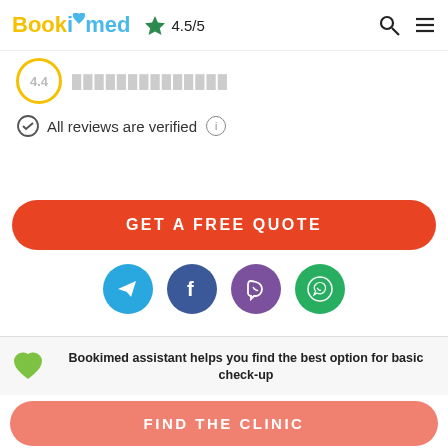Bookimed ★ 4.5/5
4.4
All reviews are verified ⓘ
GET A FREE QUOTE
[Figure (logo): Social media contact icons: Telegram, Facebook, Viber, WhatsApp]
Bookimed assistant helps you find the best option for basic check-up
FIND THE CLINIC
By continuing to use this site, you agree to our Terms of Use cookie-files. AGREE